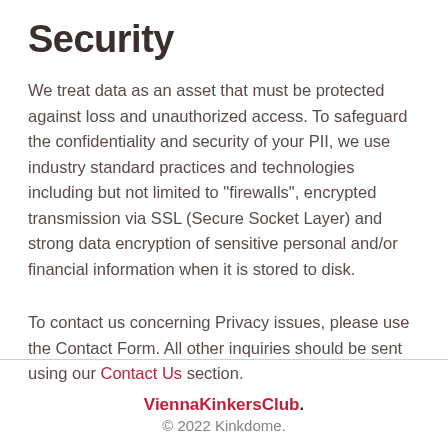Security
We treat data as an asset that must be protected against loss and unauthorized access. To safeguard the confidentiality and security of your PII, we use industry standard practices and technologies including but not limited to "firewalls", encrypted transmission via SSL (Secure Socket Layer) and strong data encryption of sensitive personal and/or financial information when it is stored to disk.
To contact us concerning Privacy issues, please use the Contact Form. All other inquiries should be sent using our Contact Us section.
ViennaKinkersClub. © 2022 Kinkdome.